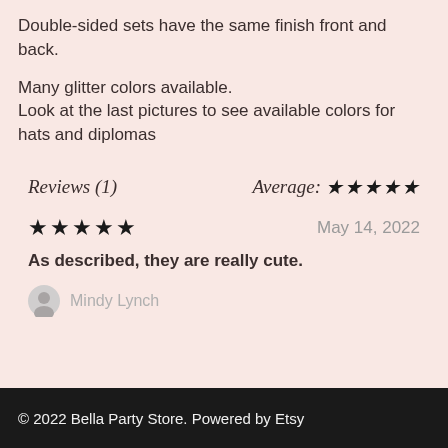Double-sided sets have the same finish front and back.
Many glitter colors available.
Look at the last pictures to see available colors for hats and diplomas
Reviews (1)
Average: ★★★★★
★★★★★   May 14, 2022
As described, they are really cute.
Mindy Lynch
© 2022 Bella Party Store. Powered by Etsy